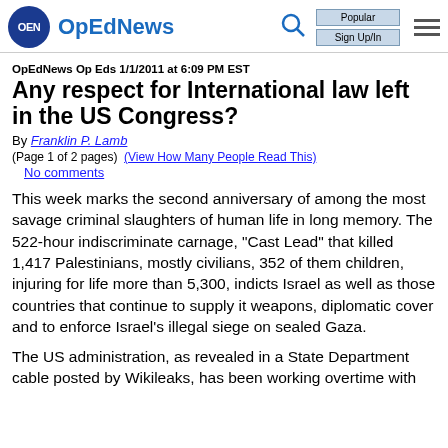OpEdNews | Popular | Sign Up/In
OpEdNews Op Eds 1/1/2011 at 6:09 PM EST
Any respect for International law left in the US Congress?
By Franklin P. Lamb
(Page 1 of 2 pages)  (View How Many People Read This)
No comments
This week marks the second anniversary of among the most savage criminal slaughters of human life in long memory. The 522-hour indiscriminate carnage, "Cast Lead" that killed 1,417 Palestinians, mostly civilians, 352 of them children, injuring for life more than 5,300, indicts Israel as well as those countries that continue to supply it weapons, diplomatic cover and to enforce Israel's illegal siege on sealed Gaza.
The US administration, as revealed in a State Department cable posted by Wikileaks, has been working overtime with